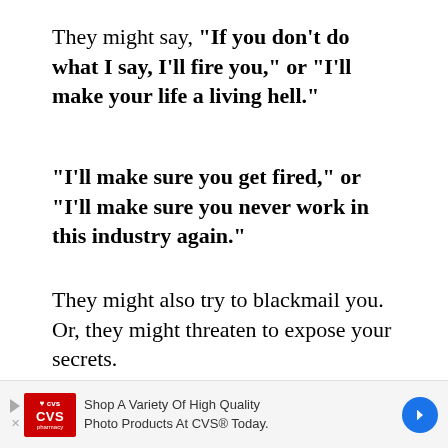They might say, “If you don’t do what I say, I’ll fire you,” or “I’ll make your life a living hell.”
“I’ll make sure you get fired,” or “I’ll make sure you never work in this industry again.”
They might also try to blackmail you. Or, they might threaten to expose your secrets.
They might also threaten to hurt you or
[Figure (other): Advertisement banner for CVS Pharmacy: 'Shop A Variety Of High Quality Photo Products At CVS® Today.']